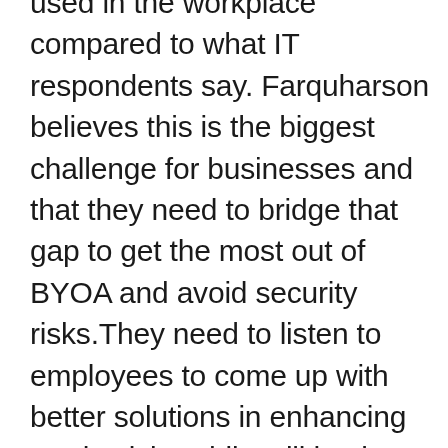used in the workplace compared to what IT respondents say. Farquharson believes this is the biggest challenge for businesses and that they need to bridge that gap to get the most out of BYOA and avoid security risks.They need to listen to employees to come up with better solutions in enhancing productivity while still having some level of control to protect critical information. Implementing mobile device management strategies can